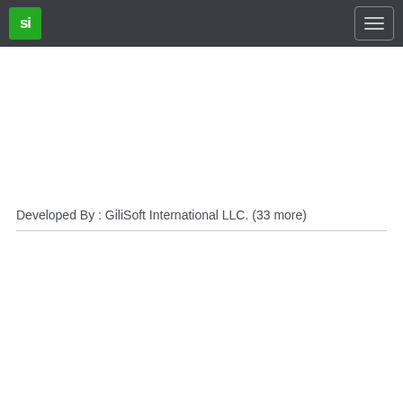[Figure (logo): Green square logo with white 'si' text]
[Figure (other): Hamburger menu button with three horizontal lines, dark border on dark navbar]
Developed By : GiliSoft International LLC. (33 more)